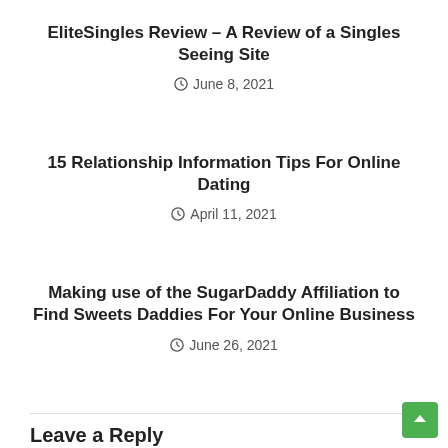EliteSingles Review – A Review of a Singles Seeing Site
June 8, 2021
15 Relationship Information Tips For Online Dating
April 11, 2021
Making use of the SugarDaddy Affiliation to Find Sweets Daddies For Your Online Business
June 26, 2021
Leave a Reply